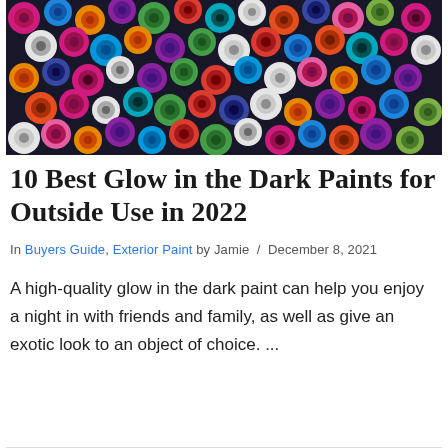[Figure (photo): Overhead view of many colorful spray paint can tops/nozzles packed tightly together, showing vibrant colors including pink, blue, orange, purple, green, and white]
10 Best Glow in the Dark Paints for Outside Use in 2022
In Buyers Guide, Exterior Paint by Jamie / December 8, 2021
A high-quality glow in the dark paint can help you enjoy a night in with friends and family, as well as give an exotic look to an object of choice. ...